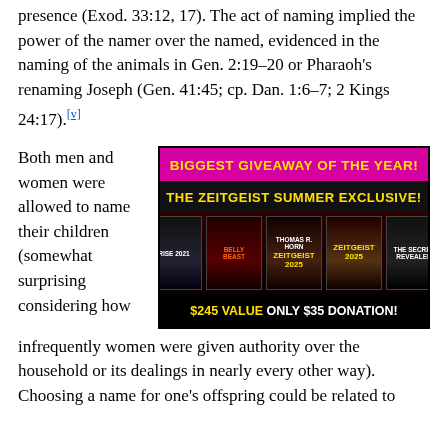presence (Exod. 33:12, 17). The act of naming implied the power of the namer over the named, evidenced in the naming of the animals in Gen. 2:19–20 or Pharaoh's renaming Joseph (Gen. 41:45; cp. Dan. 1:6–7; 2 Kings 24:17).[v]
[Figure (infographic): Advertisement: Biggest Giveaway of the Year! The Zeitgeist Summer Exclusive! $245 VALUE ONLY $35 DONATION! Featuring products: Rise 2021, Belly of the Beast, Zeitgeist 2025 (two versions), The Secret Revealed.]
Both men and women were allowed to name their children (somewhat surprising considering how infrequently women were given authority over the household or its dealings in nearly every other way). Choosing a name for one's offspring could be related to